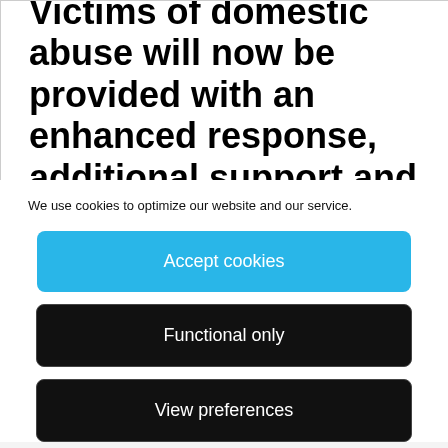Victims of domestic abuse will now be provided with an enhanced response, additional support and
We use cookies to optimize our website and our service.
Accept cookies
Functional only
View preferences
provide innovative support for victims using video technology to virtually respond to specific calls. This will enable victims to immediately